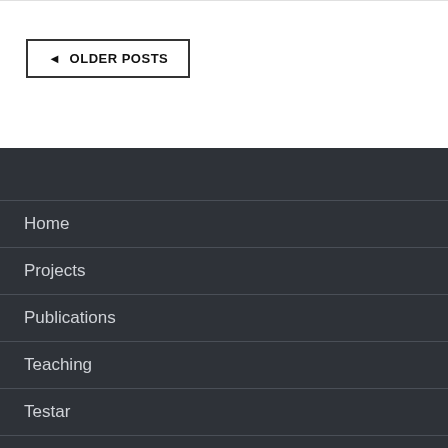◄ OLDER POSTS
Home
Projects
Publications
Teaching
Testar
Innovation Alliance
Video's
Contact